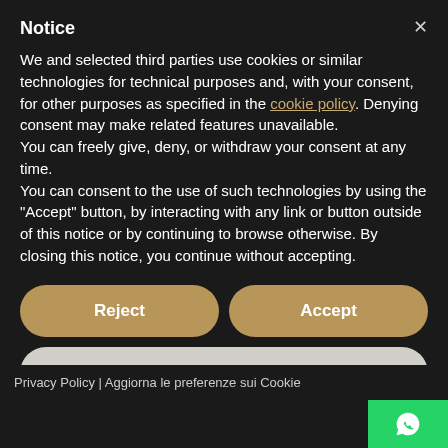Notice
We and selected third parties use cookies or similar technologies for technical purposes and, with your consent, for other purposes as specified in the cookie policy. Denying consent may make related features unavailable.
You can freely give, deny, or withdraw your consent at any time.
You can consent to the use of such technologies by using the "Accept" button, by interacting with any link or button outside of this notice or by continuing to browse otherwise. By closing this notice, you continue without accepting.
Reject
Accept
Learn more and customise
Privacy Policy | Aggiorna le preferenze sui Cookie